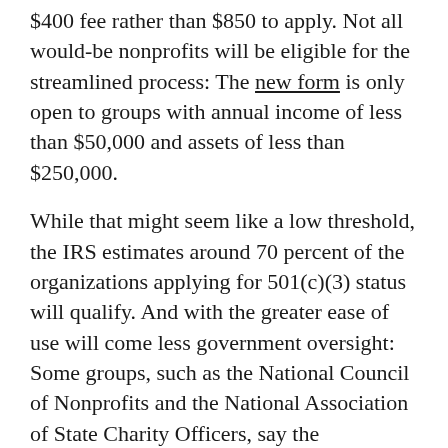$400 fee rather than $850 to apply. Not all would-be nonprofits will be eligible for the streamlined process: The new form is only open to groups with annual income of less than $50,000 and assets of less than $250,000.
While that might seem like a low threshold, the IRS estimates around 70 percent of the organizations applying for 501(c)(3) status will qualify. And with the greater ease of use will come less government oversight: Some groups, such as the National Council of Nonprofits and the National Association of State Charity Officers, say the streamlined process is an invitation for groups to abuse tax-exempt status.